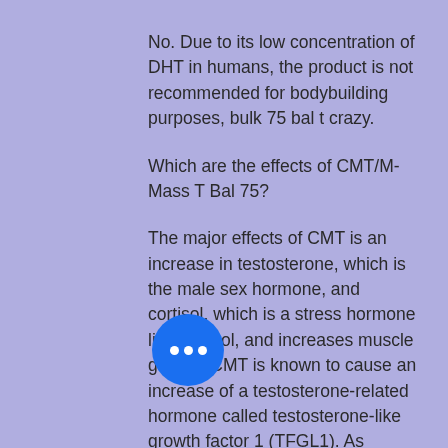No. Due to its low concentration of DHT in humans, the product is not recommended for bodybuilding purposes, bulk 75 bal t crazy.
Which are the effects of CMT/M-Mass T Bal 75?
The major effects of CMT is an increase in testosterone, which is the male sex hormone, and cortisol, which is a stress hormone like cortisol, and increases muscle growth. CMT is known to cause an increase of a testosterone-related hormone called testosterone-like growth factor 1 (TFGL1). As mentioned before, the product contains less than 13 mg of T in a 60 mL bottle; however, there is a lot of other active ingredients in this product, which may increase the volume of testosterone, and in addition, CMT...
[Figure (other): Blue circular chat bubble icon with three white dots]